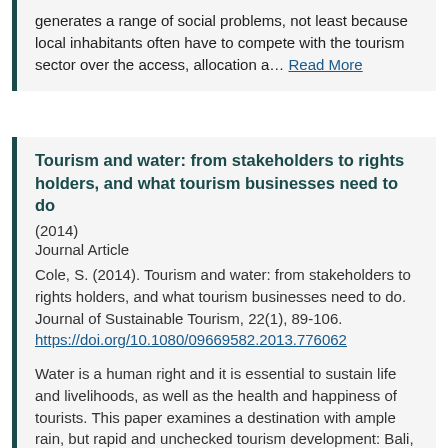generates a range of social problems, not least because local inhabitants often have to compete with the tourism sector over the access, allocation a… Read More
Tourism and water: from stakeholders to rights holders, and what tourism businesses need to do
(2014)
Journal Article
Cole, S. (2014). Tourism and water: from stakeholders to rights holders, and what tourism businesses need to do. Journal of Sustainable Tourism, 22(1), 89-106.
https://doi.org/10.1080/09669582.2013.776062
Water is a human right and it is essential to sustain life and livelihoods, as well as the health and happiness of tourists. This paper examines a destination with ample rain, but rapid and unchecked tourism development: Bali, Indonesia. The